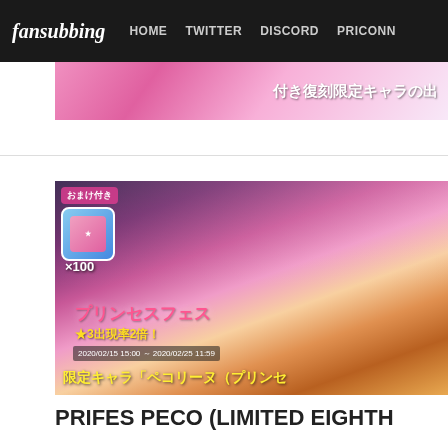fansubbing  HOME  TWITTER  DISCORD  PRICONN
[Figure (screenshot): Partial banner image for V. Shizuru (Rerun) limited character with Japanese text overlay]
V. SHIZURU (RERUN) (LIMIT
[Figure (screenshot): Prifes Peco limited eighth gacha banner image showing anime character with long blonde hair, Japanese text: プリンセスフェス, ★3出現率2倍!, 2020/02/15 15:00 ~ 2020/02/25 11:59, 限定キャラ「ペコリーヌ (プリンセ, おまけ付き, ×100]
PRIFES PECO (LIMITED EIGHTH